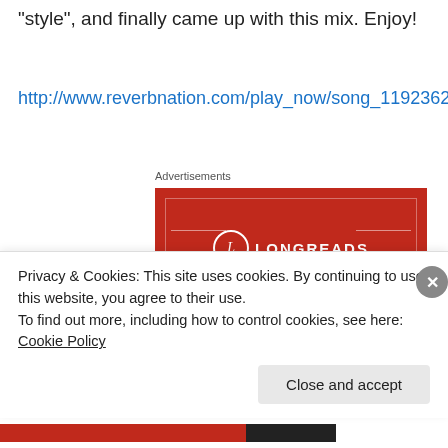“style”, and finally came up with this mix. Enjoy!
http://www.reverbnation.com/play_now/song_11923629
Advertisements
[Figure (illustration): Longreads advertisement banner on red background with logo, tagline 'The best stories on the web – ours, and everyone else’s.' and 'Start reading' button]
Privacy & Cookies: This site uses cookies. By continuing to use this website, you agree to their use.
To find out more, including how to control cookies, see here: Cookie Policy
Close and accept